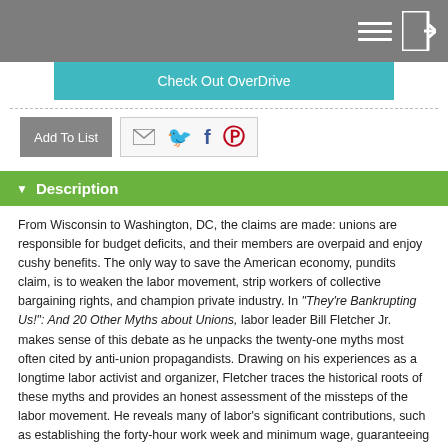Check Out OverDrive
[Figure (screenshot): Add To List button and social sharing icons (email, Twitter, Facebook, Pinterest)]
▼  Description
From Wisconsin to Washington, DC, the claims are made: unions are responsible for budget deficits, and their members are overpaid and enjoy cushy benefits. The only way to save the American economy, pundits claim, is to weaken the labor movement, strip workers of collective bargaining rights, and champion private industry. In "They're Bankrupting Us!": And 20 Other Myths about Unions, labor leader Bill Fletcher Jr. makes sense of this debate as he unpacks the twenty-one myths most often cited by anti-union propagandists. Drawing on his experiences as a longtime labor activist and organizer, Fletcher traces the historical roots of these myths and provides an honest assessment of the missteps of the labor movement. He reveals many of labor's significant contributions, such as establishing the forty-hour work week and minimum wage, guaranteeing safe workplaces, and fighting for equity within the workforce. This timely, accessible, "warts and all" book argues, ultimately, that unions are necessary for democracy and ensure economic and social justice for all people.